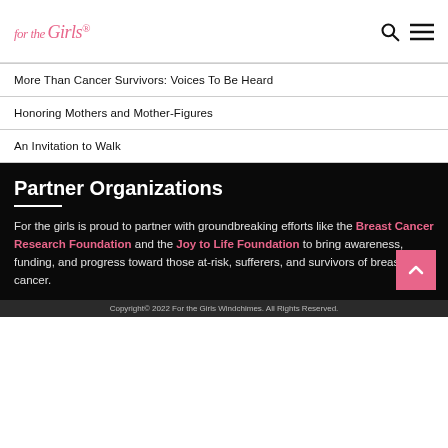for the Girls
More Than Cancer Survivors: Voices To Be Heard
Honoring Mothers and Mother-Figures
An Invitation to Walk
Partner Organizations
For the girls is proud to partner with groundbreaking efforts like the Breast Cancer Research Foundation and the Joy to Life Foundation to bring awareness, funding, and progress toward those at-risk, sufferers, and survivors of breast cancer.
Copyright© 2022 For the Girls Windchimes. All Rights Reserved.